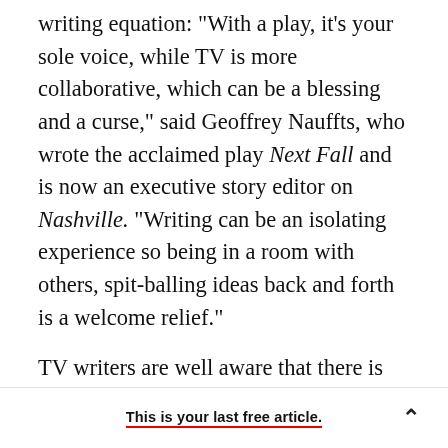writing equation: "With a play, it's your sole voice, while TV is more collaborative, which can be a blessing and a curse," said Geoffrey Nauffts, who wrote the acclaimed play Next Fall and is now an executive story editor on Nashville. "Writing can be an isolating experience so being in a room with others, spit-balling ideas back and forth is a welcome relief."
TV writers are well aware that there is still some prejudice against, or at least skepticism of, their stage skills, especially among New York critics. Check out reviews of shows like Under My Skin
This is your last free article.